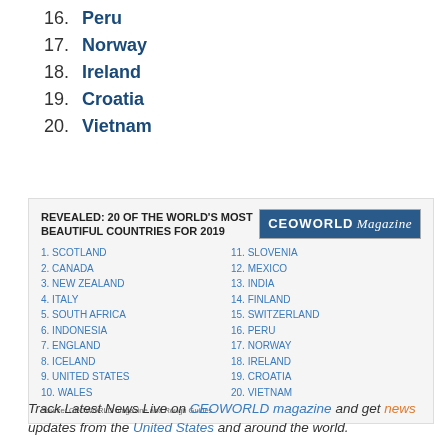16. Peru
17. Norway
18. Ireland
19. Croatia
20. Vietnam
[Figure (infographic): CEOWORLD Magazine infographic: REVEALED: 20 OF THE WORLD'S MOST BEAUTIFUL COUNTRIES FOR 2019. Lists: 1. Scotland, 2. Canada, 3. New Zealand, 4. Italy, 5. South Africa, 6. Indonesia, 7. England, 8. Iceland, 9. United States, 10. Wales, 11. Slovenia, 12. Mexico, 13. India, 14. Finland, 15. Switzerland, 16. Peru, 17. Norway, 18. Ireland, 19. Croatia, 20. Vietnam. Source: CEOWORLD magazine and Rough Guides.]
Track Latest News Live on CEOWORLD magazine and get news updates from the United States and around the world.